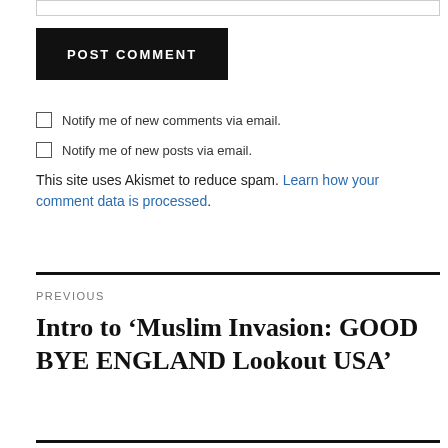[input bar at top]
POST COMMENT
Notify me of new comments via email.
Notify me of new posts via email.
This site uses Akismet to reduce spam. Learn how your comment data is processed.
PREVIOUS
Intro to ‘Muslim Invasion: GOOD BYE ENGLAND Lookout USA’